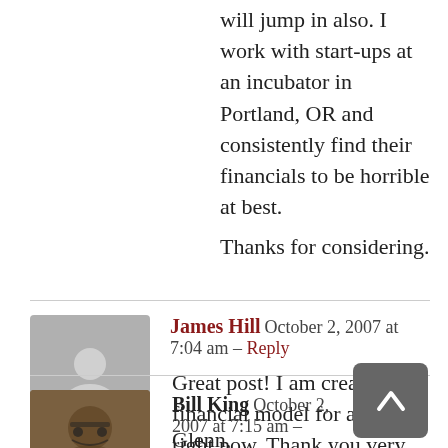will jump in also. I work with start-ups at an incubator in Portland, OR and consistently find their financials to be horrible at best.
Thanks for considering.
James Hill  October 2, 2007 at 7:04 am – Reply
Great post! I am creating a financial model for a startup right now. Thank you very much for the advice, and the good timing!
Good luck!
Bill King  October 2, 2007 at 7:15 am –
Glenn,